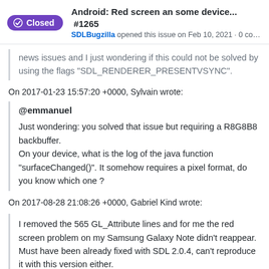Android: Red screen an some device... #1265 SDLBugzilla opened this issue on Feb 10, 2021 · 0 co...
news issues and I just wondering if this could not be solved by using the flags "SDL_RENDERER_PRESENTVSYNC".
On 2017-01-23 15:57:20 +0000, Sylvain wrote:
@emmanuel

Just wondering: you solved that issue but requiring a R8G8B8 backbuffer.
On your device, what is the log of the java function "surfaceChanged()". It somehow requires a pixel format, do you know which one ?
On 2017-08-28 21:08:26 +0000, Gabriel Kind wrote:
I removed the 565 GL_Attribute lines and for me the red screen problem on my Samsung Galaxy Note didn't reappear. Must have been already fixed with SDL 2.0.4, can't reproduce it with this version either.